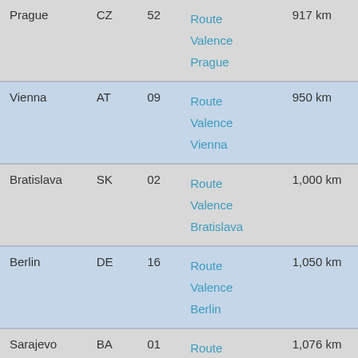| City | Code | Num | Route | Distance |
| --- | --- | --- | --- | --- |
| Prague | CZ | 52 | Route
Valence
Prague | 917 km |
| Vienna | AT | 09 | Route
Valence
Vienna | 950 km |
| Bratislava | SK | 02 | Route
Valence
Bratislava | 1,000 km |
| Berlin | DE | 16 | Route
Valence
Berlin | 1,050 km |
| Sarajevo | BA | 01 | Route | 1,076 km |